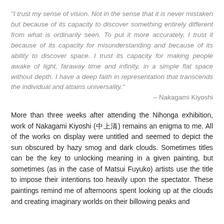“I trust my sense of vision. Not in the sense that it is never mistaken but because of its capacity to discover something entirely different from what is ordinarily seen. To put it more accurately, I trust it because of its capacity for misunderstanding and because of its ability to discover space. I trust its capacity for making people awake of light, faraway time and infinity, in a simple flat space without depth. I have a deep faith in representation that transcends the individual and attains universality.”
– Nakagami Kiyoshi
More than three weeks after attending the Nihonga exhibition, work of Nakagami Kiyoshi (中上清) remains an enigma to me. All of the works on display were untitled and seemed to depict the sun obscured by hazy smog and dark clouds. Sometimes titles can be the key to unlocking meaning in a given painting, but sometimes (as in the case of Matsui Fuyuko) artists use the title to impose their intentions too heavily upon the spectator. These paintings remind me of afternoons spent looking up at the clouds and creating imaginary worlds on their billowing peaks and